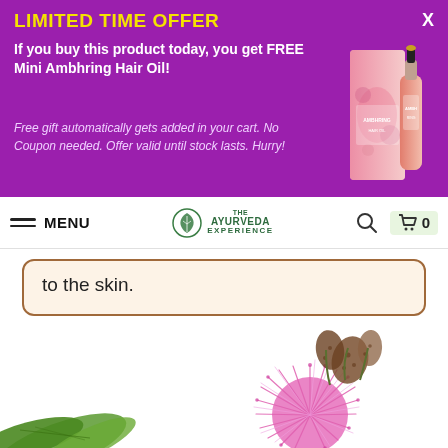LIMITED TIME OFFER
If you buy this product today, you get FREE Mini Ambhring Hair Oil!
Free gift automatically gets added in your cart. No Coupon needed. Offer valid until stock lasts. Hurry!
[Figure (photo): Product image of Ambhring Hair Oil bottle with decorative pink packaging box]
MENU  THE AYURVEDA EXPERIENCE  🔍  🛒 0
to the skin.
[Figure (photo): Close-up of a pink spiky mimosa or similar flower with brown seed pods on a white background, with green leaves visible at bottom left]